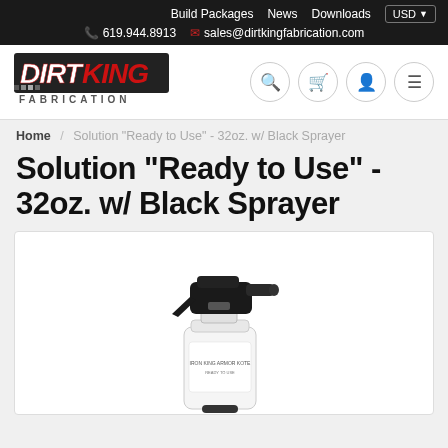Build Packages  News  Downloads  USD  619.944.8913  sales@dirtkingfabrication.com
[Figure (logo): Dirt King Fabrication logo — stylized text DIRT KING in red/white with FABRICATION below]
Home / Solution "Ready to Use" - 32oz. w/ Black Sprayer
Solution "Ready to Use" - 32oz. w/ Black Sprayer
[Figure (photo): White 32oz spray bottle with black sprayer trigger head]